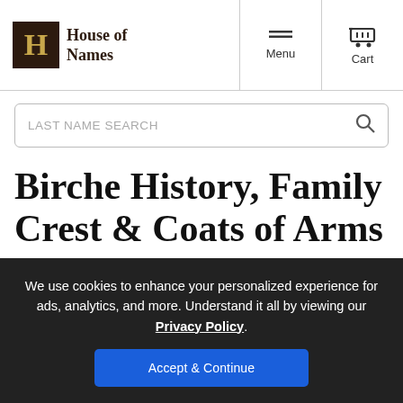House of Names — Menu | Cart
Birche History, Family Crest & Coats of Arms
Origins Available: England  Ireland
We use cookies to enhance your personalized experience for ads, analytics, and more. Understand it all by viewing our Privacy Policy.